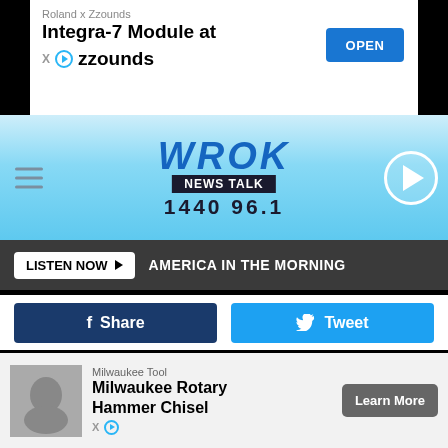[Figure (screenshot): Roland x Zzounds advertisement banner with OPEN button]
[Figure (logo): WROK News Talk 1440 96.1 radio station header with hamburger menu and play button]
LISTEN NOW ▶  AMERICA IN THE MORNING
f Share    Tweet
[Figure (photo): Two silhouetted hands raised against a bright blue sky with a red prohibition/no symbol circle overlaid on the bright light between the hands]
[Figure (screenshot): Milwaukee Tool advertisement - Milwaukee Rotary Hammer Chisel with Learn More button]